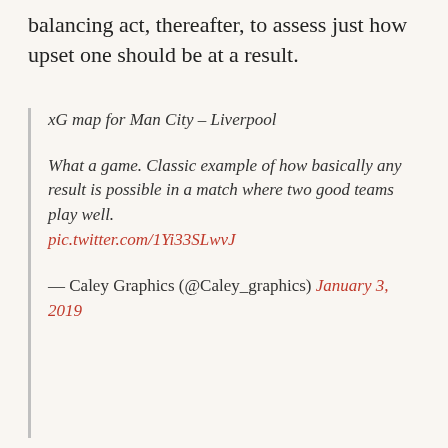balancing act, thereafter, to assess just how upset one should be at a result.
xG map for Man City – Liverpool

What a game. Classic example of how basically any result is possible in a match where two good teams play well.
pic.twitter.com/1Yi33SLwvJ

— Caley Graphics (@Caley_graphics) January 3, 2019